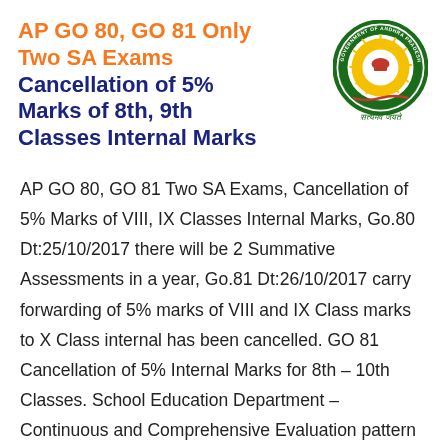AP GO 80, GO 81 Only Two SA Exams Cancellation of 5% Marks of 8th, 9th Classes Internal Marks
[Figure (logo): Government of Andhra Pradesh emblem — circular seal with 'Satyameva Jayate' text below]
AP GO 80, GO 81 Two SA Exams, Cancellation of 5% Marks of VIII, IX Classes Internal Marks, Go.80 Dt:25/10/2017 there will be 2 Summative Assessments in a year, Go.81 Dt:26/10/2017 carry forwarding of 5% marks of VIII and IX Class marks to X Class internal has been cancelled. GO 81 Cancellation of 5% Internal Marks for 8th – 10th Classes. School Education Department – Continuous and Comprehensive Evaluation pattern of examination system –